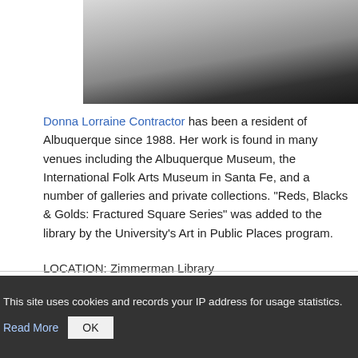[Figure (photo): Partial photo of an artwork, showing a gray/white angled surface against a dark background]
Donna Lorraine Contractor has been a resident of Albuquerque since 1988. Her work is found in many venues including the Albuquerque Museum, the International Folk Arts Museum in Santa Fe, and a number of galleries and private collections. "Reds, Blacks & Golds: Fractured Square Series" was added to the library by the University's Art in Public Places program.
LOCATION: Zimmerman Library
MEDIUM: Wool
SIZE: 64" x 40"
DATE: 2011 (installed)
This site uses cookies and records your IP address for usage statistics.
Read More   OK